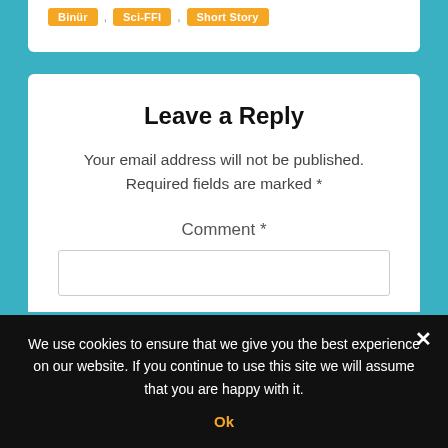[Figure (screenshot): Tag buttons: Binür, Sci-FFI, Short Story in orange pill/badge style on white card top]
Leave a Reply
Your email address will not be published. Required fields are marked *
Comment *
[Figure (screenshot): Comment text input box (empty, white with border)]
We use cookies to ensure that we give you the best experience on our website. If you continue to use this site we will assume that you are happy with it.
Ok